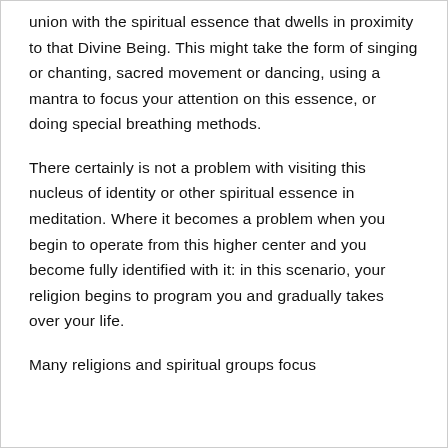union with the spiritual essence that dwells in proximity to that Divine Being. This might take the form of singing or chanting, sacred movement or dancing, using a mantra to focus your attention on this essence, or doing special breathing methods.
There certainly is not a problem with visiting this nucleus of identity or other spiritual essence in meditation. Where it becomes a problem when you begin to operate from this higher center and you become fully identified with it: in this scenario, your religion begins to program you and gradually takes over your life.
Many religions and spiritual groups focus